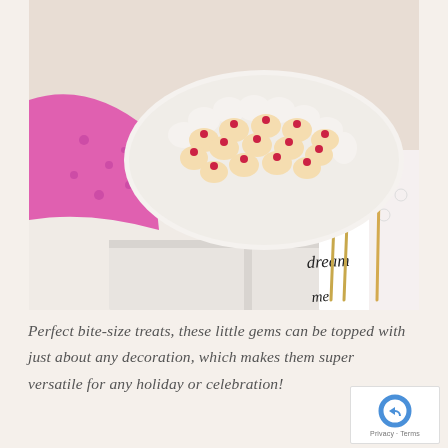[Figure (photo): A person wearing a pink floral blouse holding a white scalloped dish filled with small cookies decorated with red candy gems and white icing. Behind the dish is a white gift box and a decorative text-printed fabric with gold cutlery on the right side.]
Perfect bite-size treats, these little gems can be topped with just about any decoration, which makes them super versatile for any holiday or celebration!